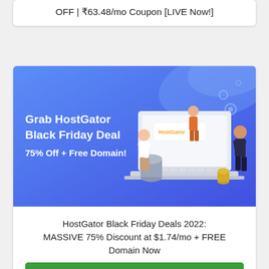OFF | ₹63.48/mo Coupon [LIVE Now!]
[Figure (illustration): HostGator Black Friday Deal promotional banner with blue gradient background. Text on left reads 'Grab HostGator Black Friday Deal 75% Off + Free Domain!' with an illustration of people around a large laptop showing the HostGator logo on the right side.]
HostGator Black Friday Deals 2022: MASSIVE 75% Discount at $1.74/mo + FREE Domain Now
Grab 86% OFF ($1.29/mo Deal)